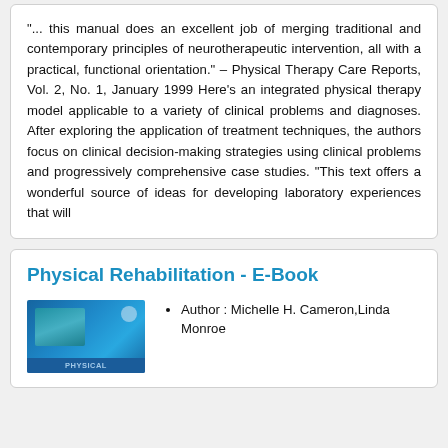"... this manual does an excellent job of merging traditional and contemporary principles of neurotherapeutic intervention, all with a practical, functional orientation." – Physical Therapy Care Reports, Vol. 2, No. 1, January 1999 Here's an integrated physical therapy model applicable to a variety of clinical problems and diagnoses. After exploring the application of treatment techniques, the authors focus on clinical decision-making strategies using clinical problems and progressively comprehensive case studies. "This text offers a wonderful source of ideas for developing laboratory experiences that will
Physical Rehabilitation - E-Book
[Figure (illustration): Book cover for Physical Rehabilitation E-Book with blue background and medical imagery]
Author : Michelle H. Cameron,Linda Monroe